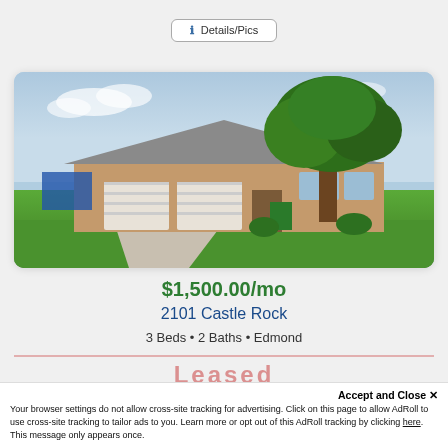[Figure (screenshot): Details/Pics button at top of listing page]
[Figure (photo): Exterior photo of a single-story brick ranch home with double garage, large tree in front yard, green lawn, partly cloudy sky]
$1,500.00/mo
2101 Castle Rock
3 Beds • 2 Baths • Edmond
Leased
Accept and Close ✕
Your browser settings do not allow cross-site tracking for advertising. Click on this page to allow AdRoll to use cross-site tracking to tailor ads to you. Learn more or opt out of this AdRoll tracking by clicking here. This message only appears once.